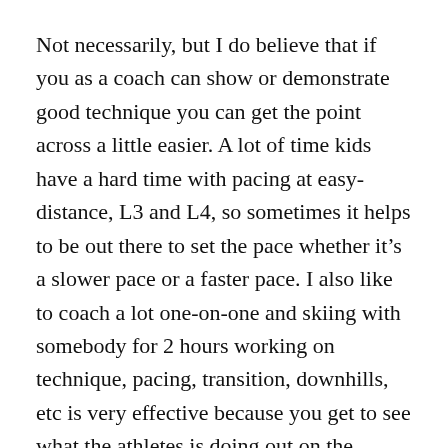Not necessarily, but I do believe that if you as a coach can show or demonstrate good technique you can get the point across a little easier. A lot of time kids have a hard time with pacing at easy-distance, L3 and L4, so sometimes it helps to be out there to set the pace whether it's a slower pace or a faster pace. I also like to coach a lot one-on-one and skiing with somebody for 2 hours working on technique, pacing, transition, downhills, etc is very effective because you get to see what the athletes is doing out on the course and give instant feed back.
Racing with athletes can go both ways, if you beat them and they say — “hey this sucks, we need